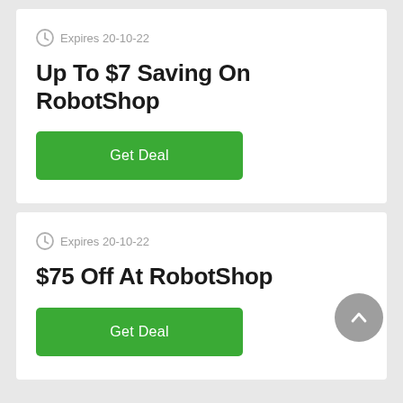Expires 20-10-22
Up To $7 Saving On RobotShop
[Figure (other): Green 'Get Deal' button]
Expires 20-10-22
$75 Off At RobotShop
[Figure (other): Green 'Get Deal' button]
[Figure (other): Gray circular scroll-to-top button with upward chevron]